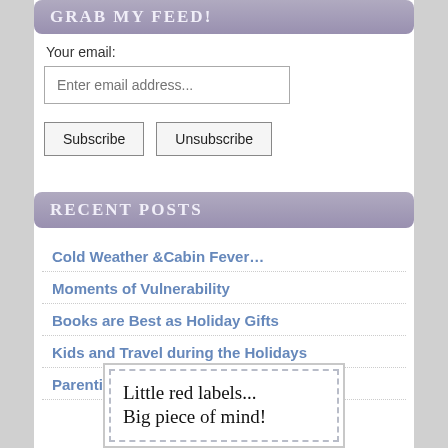GRAB MY FEED!
Your email:
Enter email address...
Subscribe   Unsubscribe
RECENT POSTS
Cold Weather &Cabin Fever…
Moments of Vulnerability
Books are Best as Holiday Gifts
Kids and Travel during the Holidays
Parenting in the Loop: Mom Myths
[Figure (other): Advertisement box with dashed border containing text: Little red labels... Big piece of mind!]